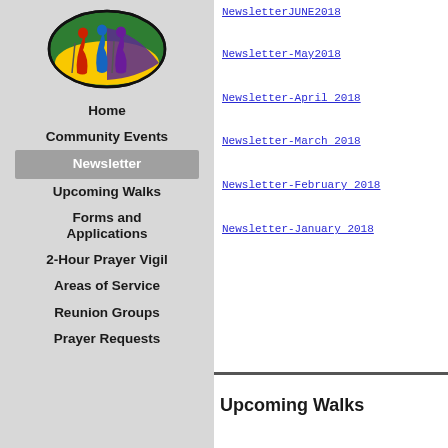[Figure (logo): Organization logo with colorful robed figures inside an oval/ellipse on a green, yellow, and purple background]
Home
Community Events
Newsletter
Upcoming Walks
Forms and Applications
2-Hour Prayer Vigil
Areas of Service
Reunion Groups
Prayer Requests
NewsletterJUNE2018
Newsletter-May2018
Newsletter-April 2018
Newsletter-March 2018
Newsletter-February 2018
Newsletter-January 2018
Upcoming Walks